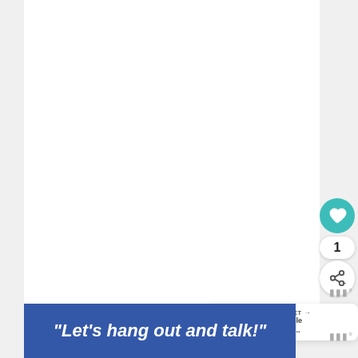[Figure (screenshot): White content area (main page content, largely blank/white)]
[Figure (infographic): Social share sidebar UI: teal heart button, count '1', share button with plus icon]
WHAT'S NEXT → Free Printable Summer Po...
ᵂᴵᴵᴵ°
ᵂᴵᴵᴵ°
"Let's hang out and talk!"